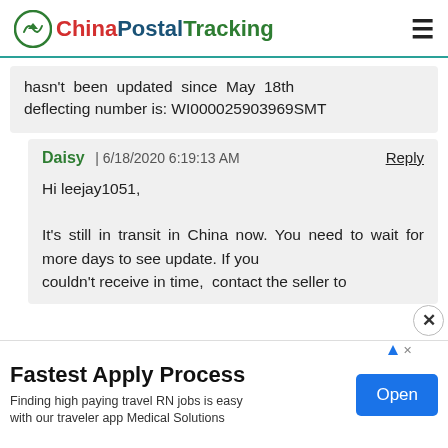ChinaPostalTracking
hasn't been updated since May 18th deflecting number is: WI000025903969SMT
Daisy | 6/18/2020 6:19:13 AM   Reply

Hi leejay1051,

It's still in transit in China now. You need to wait for more days to see update. If you couldn't receive in time, contact the seller to
Fastest Apply Process
Finding high paying travel RN jobs is easy with our traveler app Medical Solutions